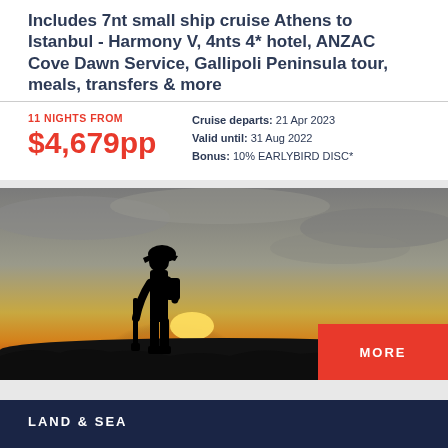Includes 7nt small ship cruise Athens to Istanbul - Harmony V, 4nts 4* hotel, ANZAC Cove Dawn Service, Gallipoli Peninsula tour, meals, transfers & more
11 NIGHTS FROM
$4,679pp
Cruise departs: 21 Apr 2023
Valid until: 31 Aug 2022
Bonus: 10% EARLYBIRD DISC*
[Figure (photo): Silhouette of a soldier standing at dusk with a rifle, against a dramatic golden and grey sunset sky.]
LAND & SEA